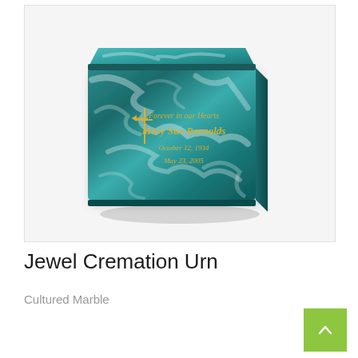[Figure (photo): A teal/green cultured marble cremation urn (Jewel Cremation Urn) with a box shape, decorated with white marble swirls and gold engraved text on the front reading: 'Forever in our Hearts / Mary Sue Reynolds / October 12, 1934 / May 23, 2005' with a gold cross symbol.]
Jewel Cremation Urn
Cultured Marble